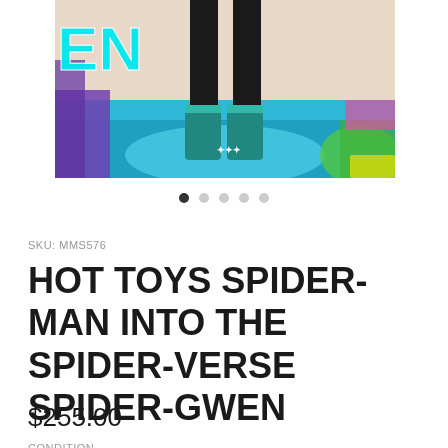[Figure (photo): Product photo of Hot Toys Spider-Gwen figure from Spider-Man: Into the Spider-Verse. Shows the lower body of the figure in black bodysuit and teal/blue boots standing on a colorful comic-book style display base. Colorful 'EN' text visible in upper left corner of image.]
SKU: MMS576
HOT TOYS SPIDER-MAN INTO THE SPIDER-VERSE SPIDER-GWEN
$255.00
CONDITION